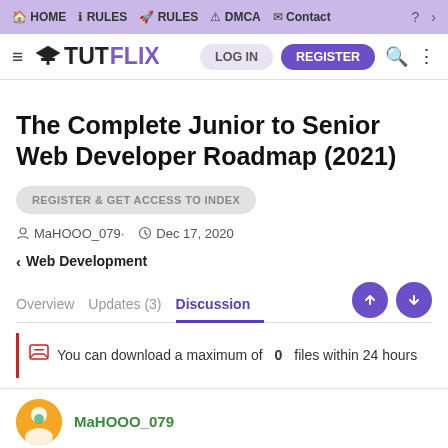HOME  HELP  RULES  DMCA  Contact  ?  >
TUT FLIX  LOG IN  REGISTER
The Complete Junior to Senior Web Developer Roadmap (2021)
REGISTER & GET ACCESS TO INDEX
MaHOOO_079  Dec 17, 2020
< Web Development
Overview  Updates (3)  Discussion
You can download a maximum of 0 files within 24 hours
MaHOOO_079